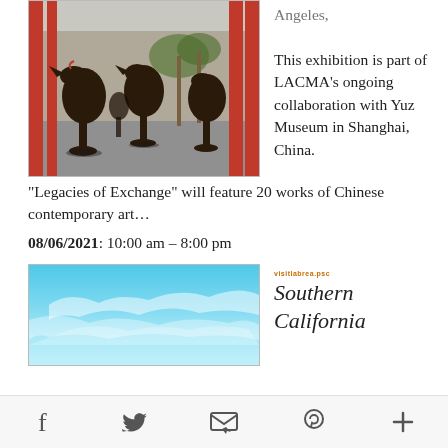[Figure (photo): Sculpture installation of large dark bird-like forms on pedestals in an outdoor museum courtyard with palm trees and red architectural elements]
Angeles,
This exhibition is part of LACMA’s ongoing collaboration with Yuz Museum in Shanghai, China. “Legacies of Exchange” will feature 20 works of Chinese contemporary art…
08/06/2021: 10:00 am – 8:00 pm
[Figure (photo): Abstract blue sky with wispy white clouds]
visitlabrea.psc
Southern California
f  📬  p  +